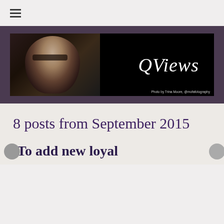≡ (hamburger menu icon)
[Figure (photo): QViews blog banner image: photograph of a woman with white/grey hair and dark glasses on the left side against a dark/black background, with the stylized cursive text 'QViews' in white on the right side. Caption reads: Photo by Trina Moore, @mofafotography]
8 posts from September 2015
To add new loyal